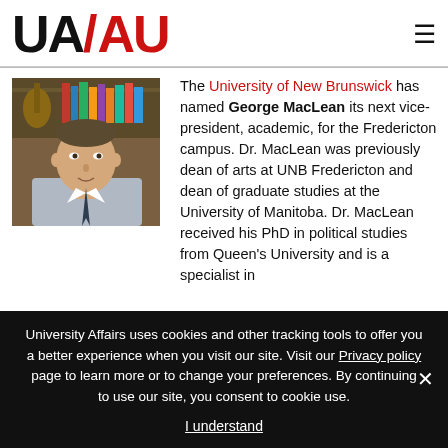UA/AU logo and hamburger menu
[Figure (photo): Headshot of George MacLean, a middle-aged man in a suit, with bookshelves and a guitar in the background]
The University of New Brunswick has named George MacLean its next vice-president, academic, for the Fredericton campus. Dr. MacLean was previously dean of arts at UNB Fredericton and dean of graduate studies at the University of Manitoba. Dr. MacLean received his PhD in political studies from Queen's University and is a specialist in
University Affairs uses cookies and other tracking tools to offer you a better experience when you visit our site. Visit our Privacy policy page to learn more or to change your preferences. By continuing to use our site, you consent to cookie use.
I understand